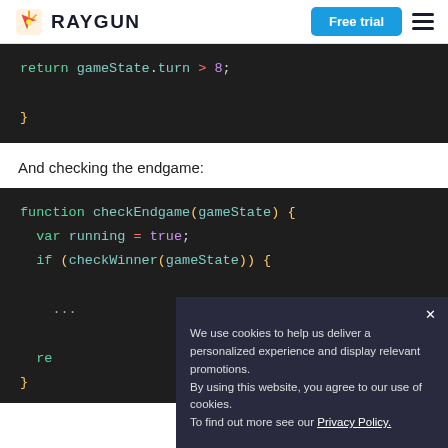RAYGUN | Free trial
[Figure (screenshot): Code block showing: return gameState.turn > 8; }]
And checking the endgame:
[Figure (screenshot): Code block showing: function checkEndgame(gameState) { var running = true; if (checkWinner(gameState)) { ... re } }]
We use cookies to help us deliver a personalized experience and display relevant promotions. By using this website, you agree to our use of cookies. To find out more see our Privacy Policy.